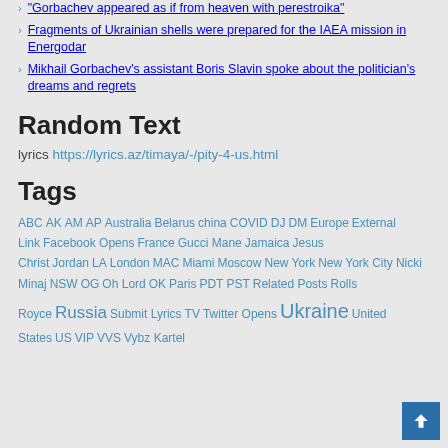"Gorbachev appeared as if from heaven with perestroika"
Fragments of Ukrainian shells were prepared for the IAEA mission in Energodar
Mikhail Gorbachev's assistant Boris Slavin spoke about the politician's dreams and regrets
Random Text
lyrics https://lyrics.az/timaya/-/pity-4-us.html
Tags
ABC AK AM AP Australia Belarus china COVID DJ DM Europe External Link Facebook Opens France Gucci Mane Jamaica Jesus Christ Jordan LA London MAC Miami Moscow New York New York City Nicki Minaj NSW OG Oh Lord OK Paris PDT PST Related Posts Rolls Royce Russia Submit Lyrics TV Twitter Opens Ukraine United States US VIP VVS Vybz Kartel